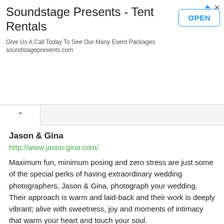[Figure (screenshot): Advertisement banner for Soundstage Presents - Tent Rentals with OPEN button]
Jason & Gina
http://www.jason-gina.com/
Maximum fun, minimum posing and zero stress are just some of the special perks of having extraordinary wedding photographers, Jason & Gina, photograph your wedding. Their approach is warm and laid-back and their work is deeply vibrant; alive with sweetness, joy and moments of intimacy that warm your heart and touch your soul.
Aldabella Photography
Fort Collins, CO
http://www.aldabellaphotography.com/